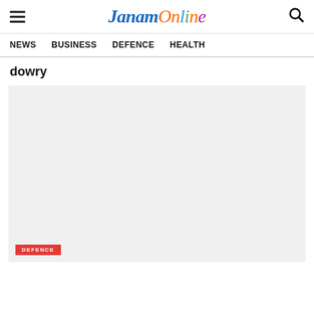JanamOnline
NEWS   BUSINESS   DEFENCE   HEALTH
dowry
[Figure (photo): Light gray placeholder card image with a DEFENCE category badge in red at the bottom left]